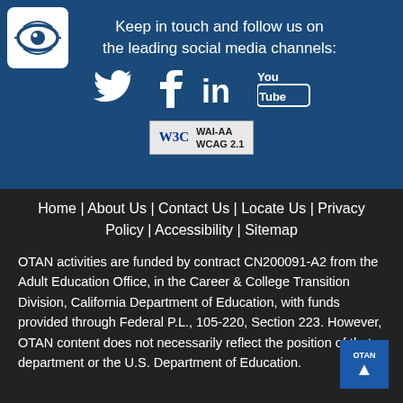[Figure (logo): OTAN logo - eye icon in white square with rounded corners on blue background]
Keep in touch and follow us on the leading social media channels:
[Figure (illustration): Social media icons: Twitter bird, Facebook f, LinkedIn in, YouTube]
[Figure (logo): W3C WAI-AA WCAG 2.1 accessibility badge]
Home | About Us | Contact Us | Locate Us | Privacy Policy | Accessibility | Sitemap
OTAN activities are funded by contract CN200091-A2 from the Adult Education Office, in the Career & College Transition Division, California Department of Education, with funds provided through Federal P.L., 105-220, Section 223. However, OTAN content does not necessarily reflect the position of that department or the U.S. Department of Education.